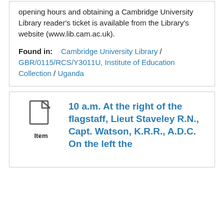opening hours and obtaining a Cambridge University Library reader's ticket is available from the Library's website (www.lib.cam.ac.uk).
Found in:   Cambridge University Library / GBR/0115/RCS/Y3011U, Institute of Education Collection / Uganda
[Figure (other): Document/Item icon with label 'Item' below it]
10 a.m. At the right of the flagstaff, Lieut Staveley R.N., Capt. Watson, K.R.R., A.D.C. On the left the